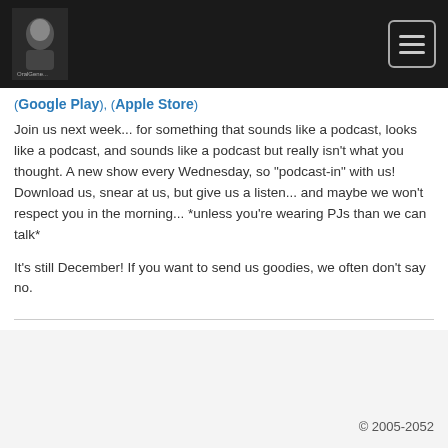Navigation bar with logo and hamburger menu
(Google Play), (Apple Store)
Join us next week... for something that sounds like a podcast, looks like a podcast, and sounds like a podcast but really isn't what you thought. A new show every Wednesday, so "podcast-in" with us! Download us, snear at us, but give us a listen... and maybe we won't respect you in the morning... *unless you're wearing PJs than we can talk*
It's still December! If you want to send us goodies, we often don't say no.
© 2005-2052